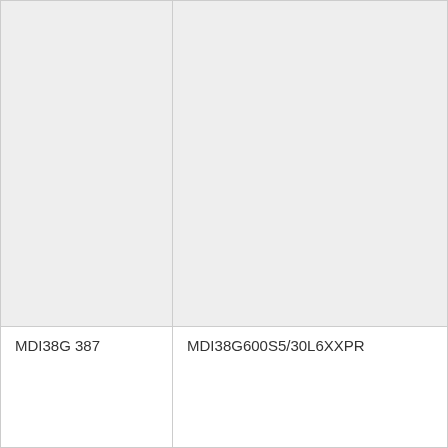|  |  |
| MDI38G 387 | MDI38G600S5/30L6XXPR |